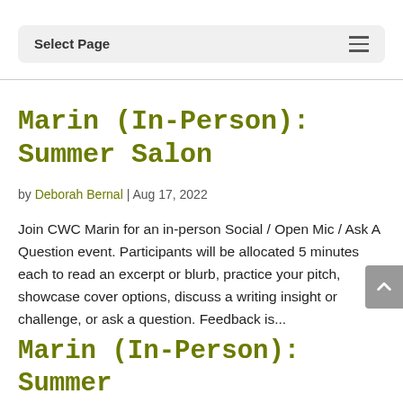Select Page
Marin (In-Person): Summer Salon
by Deborah Bernal | Aug 17, 2022
Join CWC Marin for an in-person Social / Open Mic / Ask A Question event. Participants will be allocated 5 minutes each to read an excerpt or blurb, practice your pitch, showcase cover options, discuss a writing insight or challenge, or ask a question. Feedback is...
Marin (In-Person): Summer